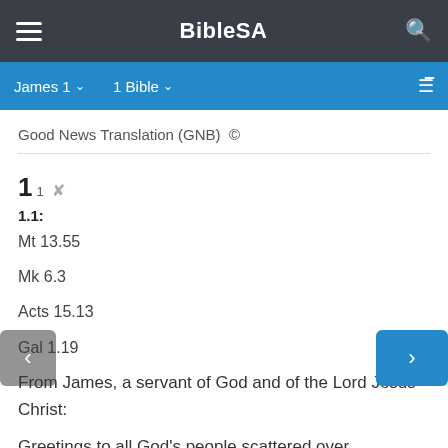BibleSA
James 1  1 Bible
Good News Translation (GNB) ©
1 1
1.1:
Mt 13.55
Mk 6.3
Acts 15.13
Gal 1.19
From James, a servant of God and of the Lord Jesus Christ:
Greetings to all God's people scattered over